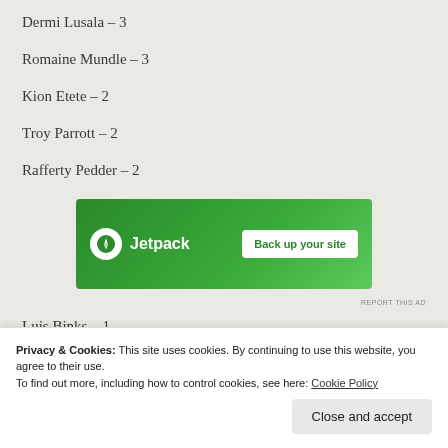Dermi Lusala – 3
Romaine Mundle – 3
Kion Etete – 2
Troy Parrott – 2
Rafferty Pedder – 2
[Figure (other): Jetpack advertisement banner with green background, Jetpack logo, and 'Back up your site' button]
Luis Binks – 1
Privacy & Cookies: This site uses cookies. By continuing to use this website, you agree to their use. To find out more, including how to control cookies, see here: Cookie Policy